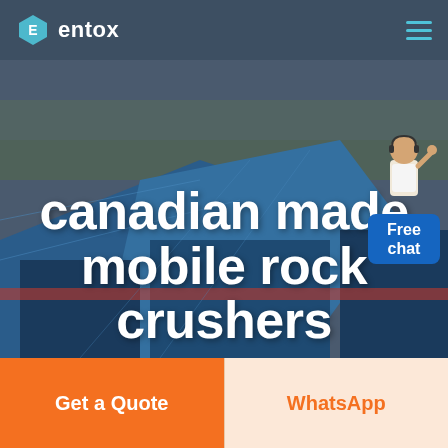entox
[Figure (screenshot): Aerial view of a large industrial factory complex with blue rooftop structures, seen from above at dusk. Serves as the hero background image.]
canadian made mobile rock crushers
[Figure (illustration): Customer service representative (person in white shirt) with a blue 'Free chat' speech bubble widget in the top-right corner.]
Get a Quote
WhatsApp